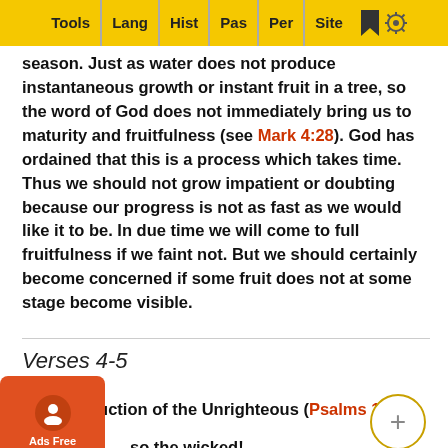Tools | Lang | Hist | Pas | Per | Site
season. Just as water does not produce instantaneous growth or instant fruit in a tree, so the word of God does not immediately bring us to maturity and fruitfulness (see Mark 4:28). God has ordained that this is a process which takes time. Thus we should not grow impatient or doubting because our progress is not as fast as we would like it to be. In due time we will come to full fruitfulness if we faint not. But we should certainly become concerned if some fruit does not at some stage become visible.
Verses 4-5
The Destruction of the Unrighteous (Psalms 1:4-5).
so the wicked!
They
Th